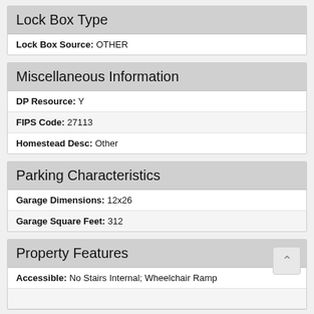Lock Box Type
Lock Box Source: OTHER
Miscellaneous Information
DP Resource: Y
FIPS Code: 27113
Homestead Desc: Other
Parking Characteristics
Garage Dimensions: 12x26
Garage Square Feet: 312
Property Features
Accessible: No Stairs Internal; Wheelchair Ramp